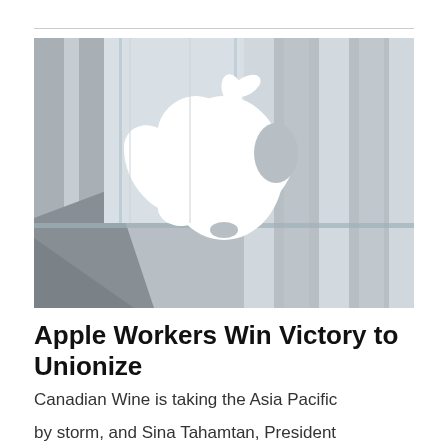[Figure (photo): An Apple Store exterior featuring the large white Apple logo on a glass facade with a modern architectural background in grey and white tones.]
Apple Workers Win Victory to Unionize
Canadian Wine is taking the Asia Pacific by storm, and Sina Tahamtan, President